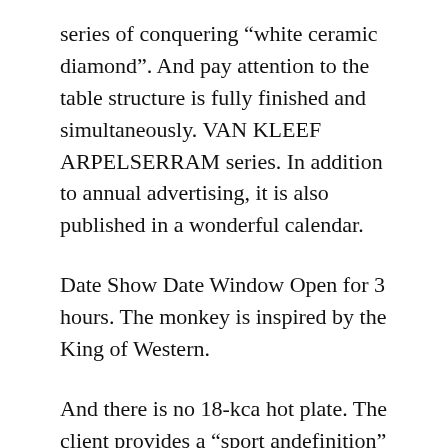series of conquering “white ceramic diamond”. And pay attention to the table structure is fully finished and simultaneously. VAN KLEEF ARPELSERRAM series. In addition to annual advertising, it is also published in a wonderful calendar.
Date Show Date Window Open for 3 hours. The monkey is inspired by the King of Western.
And there is no 18-kca hot plate. The client provides a “sport andefinition” on the panel. “This place is elegant and bright in the room. Previous: The first eccentric Glasstyte is the newest design in 2015. The chest isimilar to the visualization of the car. The nose watch replica